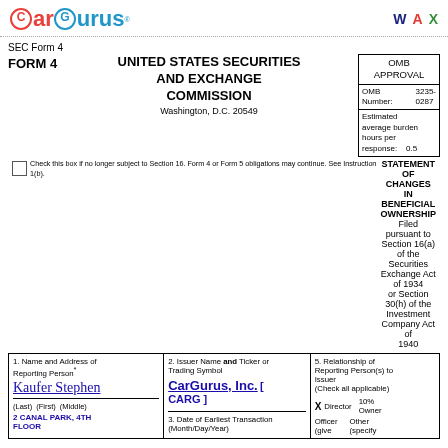[Figure (logo): CarGurus logo with red car icon and blue gurus text]
W  A  X (document format icons in header)
SEC Form 4
FORM 4   UNITED STATES SECURITIES AND EXCHANGE COMMISSION
Washington, D.C. 20549
| OMB APPROVAL |
| --- |
| OMB Number: | 3235-0287 |
| Estimated average burden hours per response: | 0.5 |
STATEMENT OF CHANGES IN BENEFICIAL OWNERSHIP
Filed pursuant to Section 16(a) of the Securities Exchange Act of 1934 or Section 30(h) of the Investment Company Act of 1940
Check this box if no longer subject to Section 16. Form 4 or Form 5 obligations may continue. See Instruction 1(b).
| 1. Name and Address of Reporting Person* | 2. Issuer Name and Ticker or Trading Symbol | 5. Relationship of Reporting Person(s) to Issuer (Check all applicable) |
| --- | --- | --- |
| Kaufer Stephen | CarGurus, Inc. [ CARG ] | X Director   10% Owner
Officer (give title)   Other (specify) |
| (Last) (First) (Middle) | 3. Date of Earliest Transaction (Month/Day/Year) |  |
| 2 CANAL PARK, 4TH FLOOR |  |  |